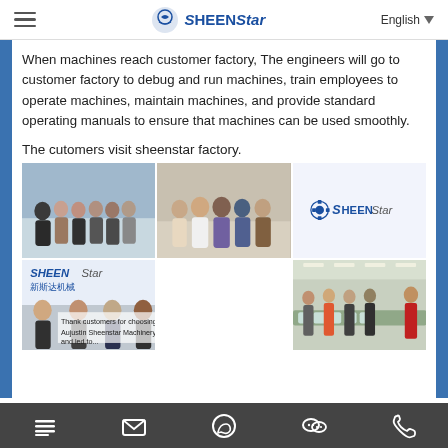SheenStar — English
When machines reach customer factory, The engineers will go to customer factory to debug and run machines, train employees to operate machines, maintain machines, and provide standard operating manuals to ensure that machines can be used smoothly.
The cutomers visit sheenstar factory.
[Figure (photo): Four photos: (1) group of ~6 people posing in a factory/showroom; (2) group of ~4 people posing in a factory; (3) SheenStar logo on white background; (4) factory floor with bottling/conveyor line and workers; (5) SheenStar brand banner with Chinese text and partial photo of staff]
Navigation icons: menu, email, WhatsApp, WeChat, phone